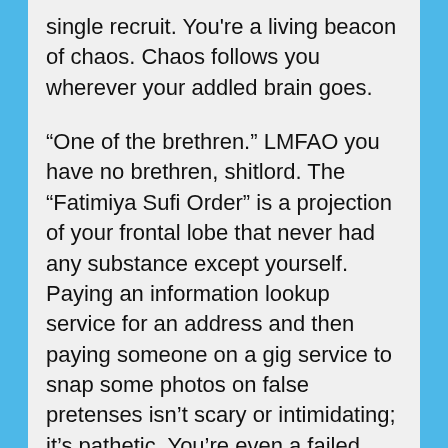single recruit. You're a living beacon of chaos. Chaos follows you wherever your addled brain goes.
“One of the brethren.” LMFAO you have no brethren, shitlord. The “Fatimiya Sufi Order” is a projection of your frontal lobe that never had any substance except yourself. Paying an information lookup service for an address and then paying someone on a gig service to snap some photos on false pretenses isn’t scary or intimidating; it’s pathetic. You’re even a failed stalker, Nima Sadra Hazini. Failure and chaos should be the new motto you emblazon on your coat of arms, alongside a new totem animal: the jacl...